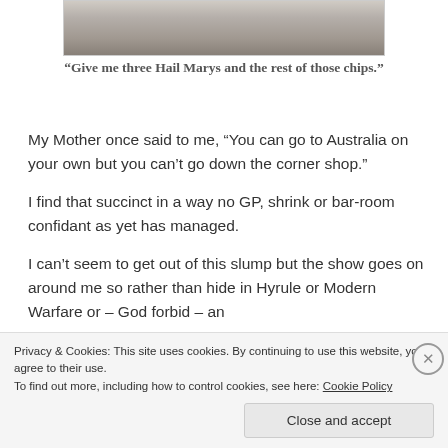[Figure (photo): Bottom portion of a photo, appears to show a seagull or bird on a surface, only the lower crop is visible]
“Give me three Hail Marys and the rest of those chips.”
My Mother once said to me, “You can go to Australia on your own but you can’t go down the corner shop.”
I find that succinct in a way no GP, shrink or bar-room confidant as yet has managed.
I can’t seem to get out of this slump but the show goes on around me so rather than hide in Hyrule or Modern Warfare or – God forbid – an
Privacy & Cookies: This site uses cookies. By continuing to use this website, you agree to their use.
To find out more, including how to control cookies, see here: Cookie Policy
Close and accept